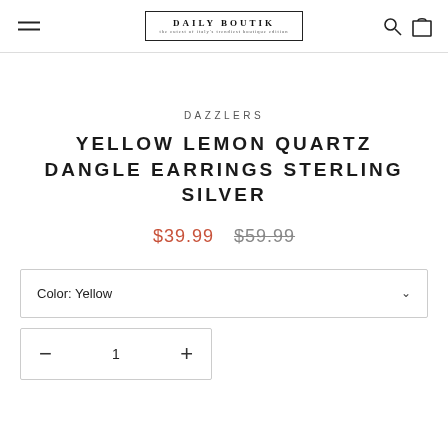DAILY BOUTIK
DAZZLERS
YELLOW LEMON QUARTZ DANGLE EARRINGS STERLING SILVER
$39.99   $59.99
Color: Yellow
1